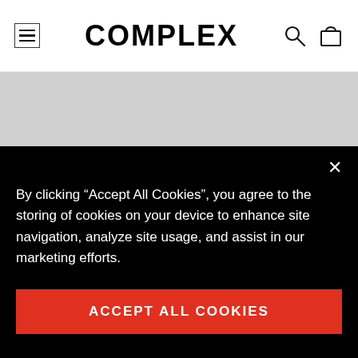COMPLEX
[Figure (photo): Gray placeholder image area for a Complex Original image]
Image via Complex Original
By clicking “Accept All Cookies”, you agree to the storing of cookies on your device to enhance site navigation, analyze site usage, and assist in our marketing efforts.
ACCEPT ALL COOKIES